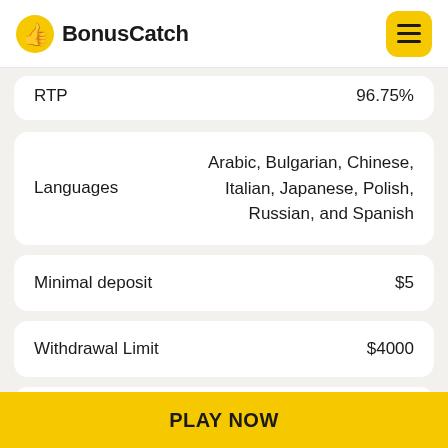BonusCatch
|  |  |
| --- | --- |
| RTP | 96.75% |
| Languages | Arabic, Bulgarian, Chinese, Italian, Japanese, Polish, Russian, and Spanish |
| Minimal deposit | $5 |
| Withdrawal Limit | $4000 |
|  | Afghanistan, American Samoa, Andorra, Argentina, Australia |
PLAY NOW